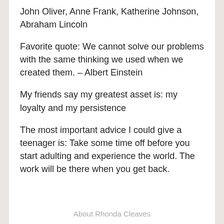John Oliver, Anne Frank, Katherine Johnson, Abraham Lincoln
Favorite quote: We cannot solve our problems with the same thinking we used when we created them. – Albert Einstein
My friends say my greatest asset is: my loyalty and my persistence
The most important advice I could give a teenager is: Take some time off before you start adulting and experience the world. The work will be there when you get back.
About Rhonda Cleaves